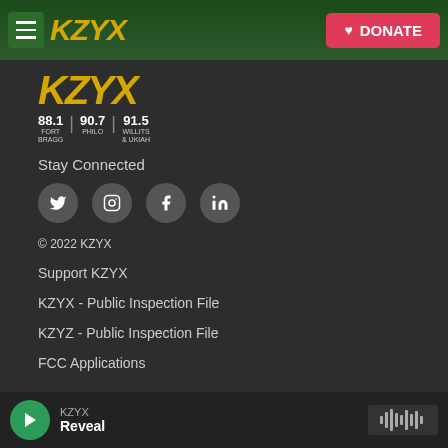KZYX — DONATE
[Figure (logo): KZYX radio station logo with frequency information: 88.1 Fort Bragg | 90.7 Philo | 91.5 Willits & Ukiah]
Stay Connected
[Figure (infographic): Social media icons: Twitter, Instagram, Facebook, LinkedIn]
© 2022 KZYX
Support KZYX
KZYX - Public Inspection File
KZYZ - Public Inspection File
FCC Applications
KZYX — Reveal